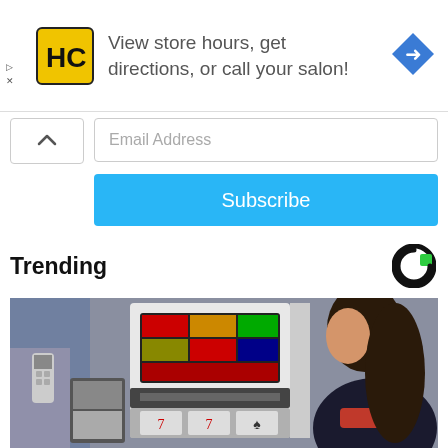[Figure (screenshot): Advertisement banner with HC logo (yellow square with black HC letters), text 'View store hours, get directions, or call your salon!' and a blue navigation diamond icon on the right]
[Figure (screenshot): Email subscription widget with a collapse chevron button, an Email Address input field, and a blue Subscribe button]
Trending
[Figure (photo): Photo of a woman with long dark hair looking at a slot machine]